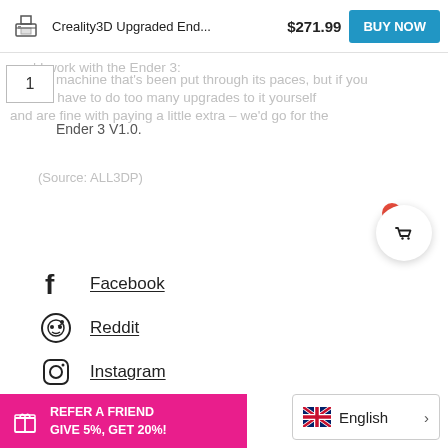Creality3D Upgraded End... $271.99 BUY NOW
we'd work with the Ender 3: … machine that's been put through its paces, but if you want to have to do too many upgrades to it yourself and are fine with paying a little extra – we'd go for the Ender 3 V1.0.
(Source: ALL3DP)
Facebook
Reddit
Instagram
Twitter
REFER A FRIEND
GIVE 5%, GET 20%!
English >